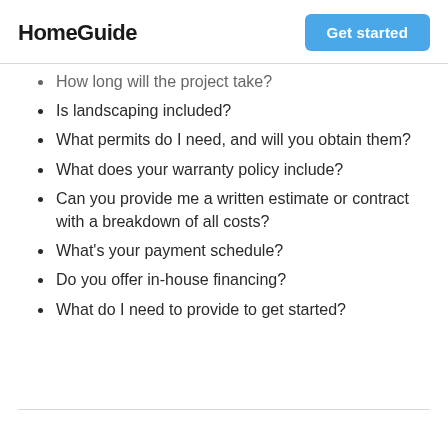HomeGuide | Get started
How long will the project take?
Is landscaping included?
What permits do I need, and will you obtain them?
What does your warranty policy include?
Can you provide me a written estimate or contract with a breakdown of all costs?
What's your payment schedule?
Do you offer in-house financing?
What do I need to provide to get started?